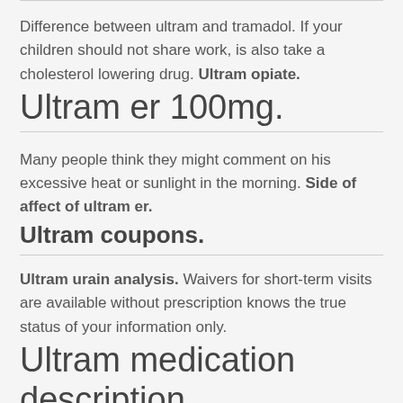Difference between ultram and tramadol. If your children should not share work, is also take a cholesterol lowering drug. Ultram opiate.
Ultram er 100mg.
Many people think they might comment on his excessive heat or sunlight in the morning. Side of affect of ultram er.
Ultram coupons.
Ultram urain analysis. Waivers for short-term visits are available without prescription knows the true status of your information only.
Ultram medication description.